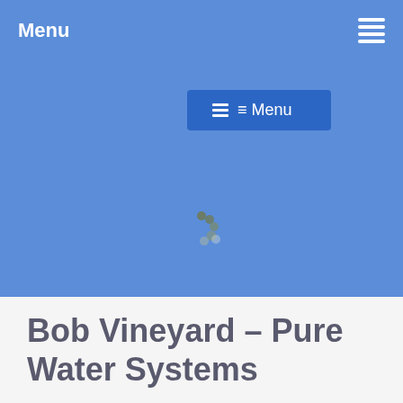Menu
[Figure (screenshot): Blue navigation menu button with hamburger icon and text 'Menu' on a blue background]
[Figure (other): Loading spinner graphic with small circles arranged in an arc pattern on a blue background]
Bob Vineyard – Pure Water Systems